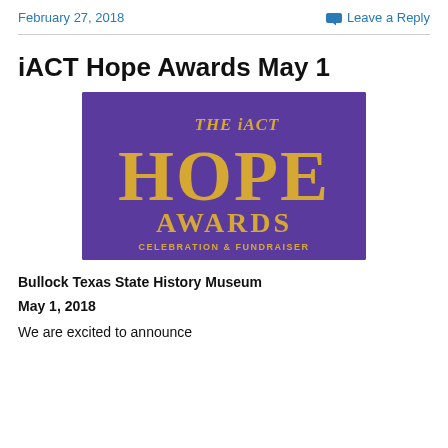February 27, 2018    Leave a Reply
iACT Hope Awards May 1
[Figure (logo): The iACT Hope Awards — Celebration & Fundraiser logo. Purple rectangular background with yellow serif text reading 'THE iACT' at top right, large 'HOPE' in center, 'AWARDS' below, and 'CELEBRATION & FUNDRAISER' at bottom.]
Bullock Texas State History Museum
May 1, 2018
We are excited to announce